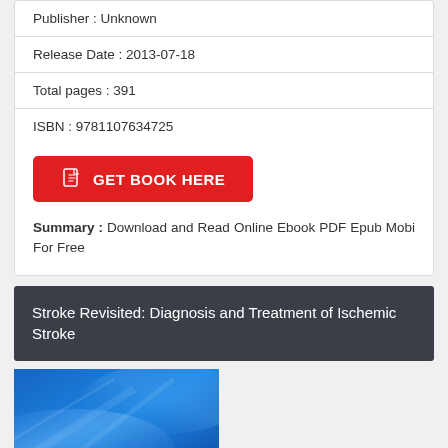Publisher : Unknown
Release Date : 2013-07-18
Total pages : 391
ISBN : 9781107634725
GET BOOK HERE
Summary : Download and Read Online Ebook PDF Epub Mobi For Free
Stroke Revisited: Diagnosis and Treatment of Ischemic Stroke
[Figure (photo): Blue abstract book cover image for Stroke Revisited]